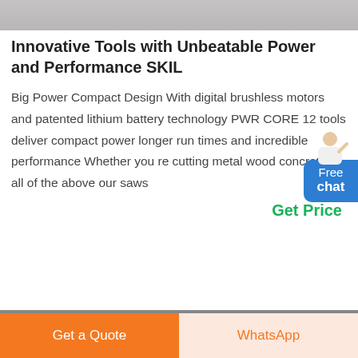[Figure (photo): Partial photo visible at top of page, gray/industrial look]
Innovative Tools with Unbeatable Power and Performance SKIL
Big Power Compact Design With digital brushless motors and patented lithium battery technology PWR CORE 12 tools deliver compact power longer run times and incredible performance Whether you re cutting metal wood concrete or all of the above our saws
Get Price
[Figure (photo): Partial photo visible at bottom of page, industrial/ceiling structure]
Get a Quote
WhatsApp